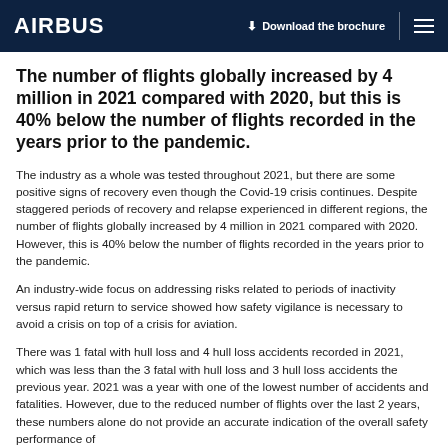AIRBUS | Download the brochure
The number of flights globally increased by 4 million in 2021 compared with 2020, but this is 40% below the number of flights recorded in the years prior to the pandemic.
The industry as a whole was tested throughout 2021, but there are some positive signs of recovery even though the Covid-19 crisis continues. Despite staggered periods of recovery and relapse experienced in different regions, the number of flights globally increased by 4 million in 2021 compared with 2020. However, this is 40% below the number of flights recorded in the years prior to the pandemic.
An industry-wide focus on addressing risks related to periods of inactivity versus rapid return to service showed how safety vigilance is necessary to avoid a crisis on top of a crisis for aviation.
There was 1 fatal with hull loss and 4 hull loss accidents recorded in 2021, which was less than the 3 fatal with hull loss and 3 hull loss accidents the previous year. 2021 was a year with one of the lowest number of accidents and fatalities. However, due to the reduced number of flights over the last 2 years, these numbers alone do not provide an accurate indication of the overall safety performance of